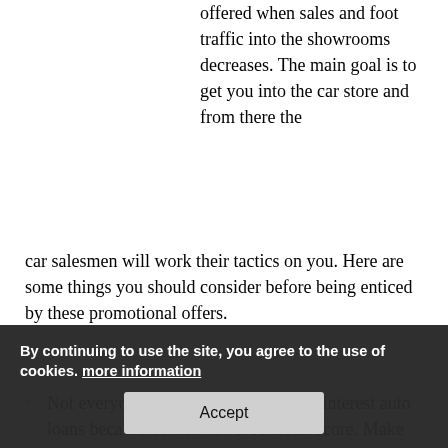offered when sales and foot traffic into the showrooms decreases. The main goal is to get you into the car store and from there the car salesmen will work their tactics on you. Here are some things you should consider before being enticed by these promotional offers.
Not everyone will be eligible for zero interest auto loans because of their lowered credit score. Make sure you know what your credit scores are so you can be prepared.
Find out the overall selling price you want. Car salesmen will try to give you lower monthly payments but raise the price of the car in the process.